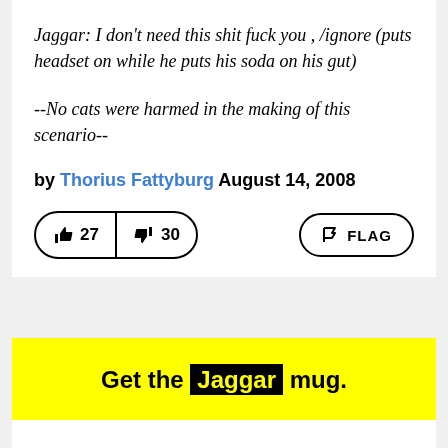Jaggar: I don't need this shit fuck you , /ignore (puts headset on while he puts his soda on his gut)
--No cats were harmed in the making of this scenario--
by Thorius Fattyburg August 14, 2008
[Figure (infographic): Vote buttons: thumbs up 27, thumbs down 30, and FLAG button]
Get the Jaggar mug.